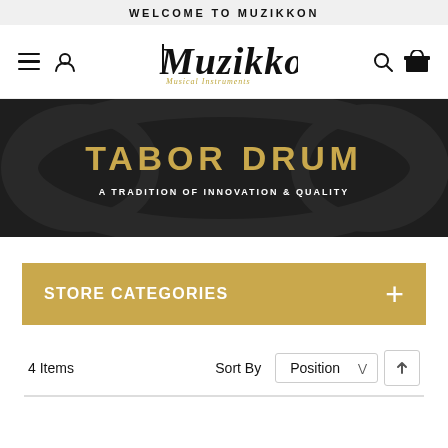WELCOME TO MUZIKKON
[Figure (logo): Muzikkon Musical Instruments logo with stylized M and italic script text]
TABOR DRUM
A TRADITION OF INNOVATION & QUALITY
STORE CATEGORIES
4 Items    Sort By    Position